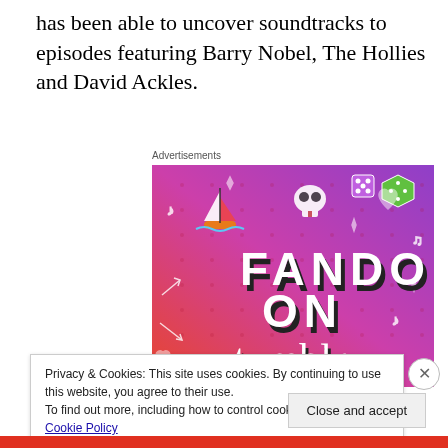has been able to uncover soundtracks to episodes featuring Barry Nobel, The Hollies and David Ackles.
Advertisements
[Figure (illustration): Fandom on Tumblr advertisement banner with colorful gradient background (orange to purple) featuring doodles, a sailboat, skull, dice, and bold text reading FANDOM ON tumblr]
Privacy & Cookies: This site uses cookies. By continuing to use this website, you agree to their use.
To find out more, including how to control cookies, see here: Cookie Policy
Close and accept